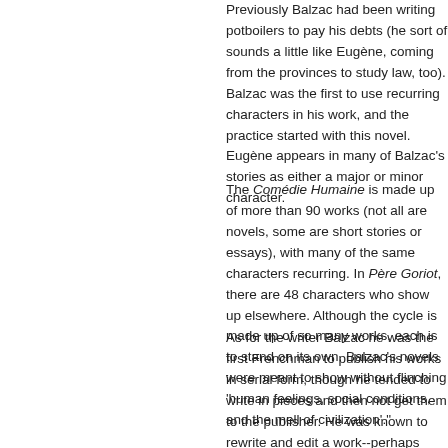Previously Balzac had been writing potboilers to pay his debts (he sort of sounds a little like Eugène, coming from the provinces to study law, too). Balzac was the first to use recurring characters in his work, and the practice started with this novel. Eugène appears in many of Balzac's stories as either a major or minor character.
The Comédie Humaine is made up of more than 90 works (not all are novels, some are short stories or essays), with many of the same characters recurring. In Père Goriot, there are 48 characters who show up elsewhere. Although the cycle is made up of so many works, each is to stand on its own. Balzac's novels were meant to show without flinching 'human feelings, social conditions, and the mell of civilization'.
As for the writer Balzac he was the first Frenchman to publish his works in serial form, though he tended to write in pieces and then not get them to the publisher. He was known to rewrite and edit a work--perhaps more than they have been. He was a fast writer and worked long hours, quickly drinking copious cups of coffee to stay awake. He seems almost larger than life in both his writing and his page--living to excess. I believe I read a comment in the introduction that something...